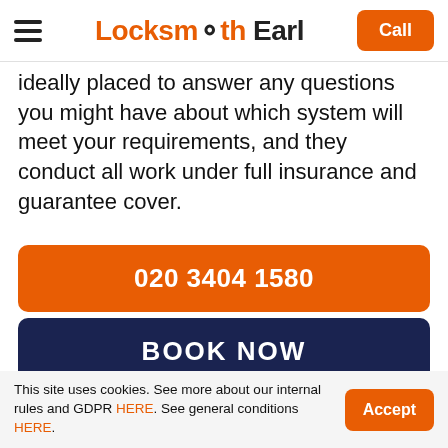Locksmith Earl | Call
ideally placed to answer any questions you might have about which system will meet your requirements, and they conduct all work under full insurance and guarantee cover.
020 3404 1580
BOOK NOW
Locksmith Services In
This site uses cookies. See more about our internal rules and GDPR HERE. See general conditions HERE.